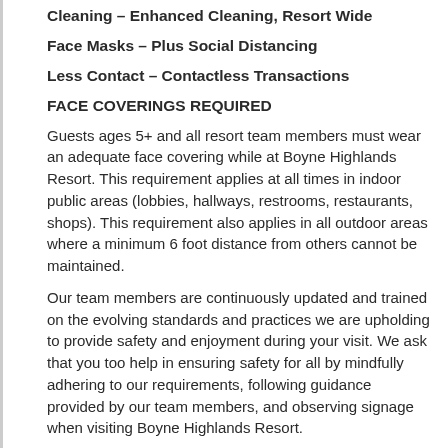Cleaning – Enhanced Cleaning, Resort Wide
Face Masks – Plus Social Distancing
Less Contact – Contactless Transactions
FACE COVERINGS REQUIRED
Guests ages 5+ and all resort team members must wear an adequate face covering while at Boyne Highlands Resort. This requirement applies at all times in indoor public areas (lobbies, hallways, restrooms, restaurants, shops). This requirement also applies in all outdoor areas where a minimum 6 foot distance from others cannot be maintained.
Our team members are continuously updated and trained on the evolving standards and practices we are upholding to provide safety and enjoyment during your visit. We ask that you too help in ensuring safety for all by mindfully adhering to our requirements, following guidance provided by our team members, and observing signage when visiting Boyne Highlands Resort.
When dining at Boyne Highlands Resort or vising any venue serving food and/or beverages, a face covering